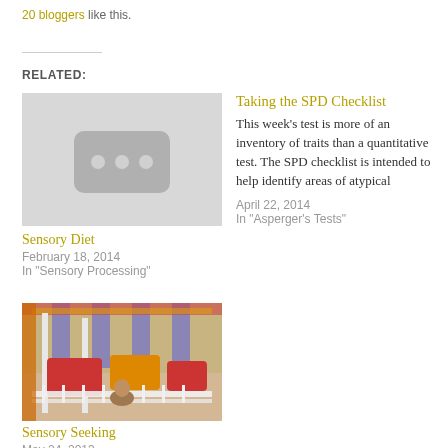20 bloggers like this.
RELATED:
[Figure (photo): Grey placeholder image with three dots icon representing Sensory Diet post thumbnail]
Sensory Diet
February 18, 2014
In "Sensory Processing"
Taking the SPD Checklist
This week's test is more of an inventory of traits than a quantitative test. The SPD checklist is intended to help identify areas of atypical
April 22, 2014
In "Asperger's Tests"
[Figure (photo): Colorful indoor sensory play area with carousel-style equipment, children visible, bright colors of red, yellow, blue]
Sensory Seeking
May 24, 2013